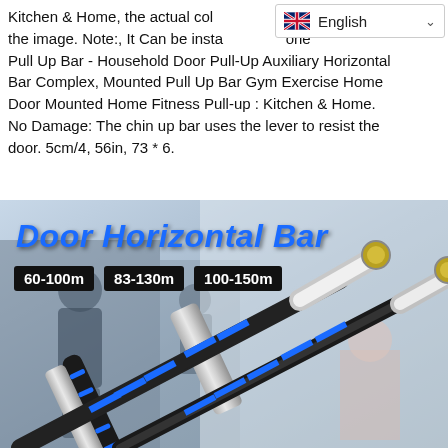Kitchen & Home, the actual col m the image. Note:, It Can be insta orie Pull Up Bar - Household Door Pull-Up Auxiliary Horizontal Bar Complex, Mounted Pull Up Bar Gym Exercise Home Door Mounted Home Fitness Pull-up : Kitchen & Home. No Damage: The chin up bar uses the lever to resist the door. 5cm/4, 56in, 73 * 6.
[Figure (photo): Product photo of a Door Horizontal Bar (pull-up bar) showing two black and chrome bars with blue accent rings, overlaid with bold italic blue text 'Door Horizontal Bar' and three size option badges: 60-100m, 83-130m, 100-150m. Background shows people exercising in a gym.]